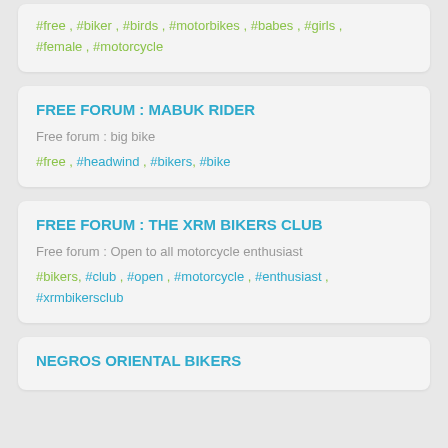#free , #biker , #birds , #motorbikes , #babes , #girls , #female , #motorcycle
FREE FORUM : MABUK RIDER
Free forum : big bike
#free , #headwind , #bikers, #bike
FREE FORUM : THE XRM BIKERS CLUB
Free forum : Open to all motorcycle enthusiast
#bikers, #club , #open , #motorcycle , #enthusiast , #xrmbikersclub
NEGROS ORIENTAL BIKERS